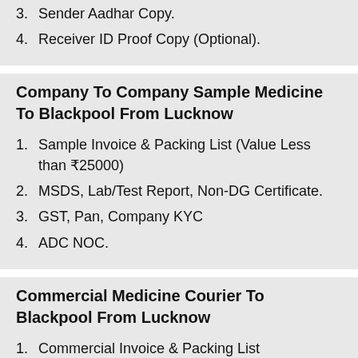3. Sender Aadhar Copy.
4. Receiver ID Proof Copy (Optional).
Company To Company Sample Medicine To Blackpool From Lucknow
1. Sample Invoice & Packing List (Value Less than ₹25000)
2. MSDS, Lab/Test Report, Non-DG Certificate.
3. GST, Pan, Company KYC
4. ADC NOC.
Commercial Medicine Courier To Blackpool From Lucknow
1. Commercial Invoice & Packing List
2. Tax Invoice / LUT Bound
3. MSDS 10 Point...